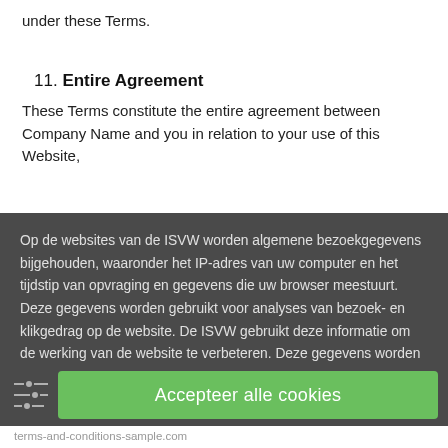under these Terms.
11. Entire Agreement
These Terms constitute the entire agreement between Company Name and you in relation to your use of this Website,
Op de websites van de ISVW worden algemene bezoekgegevens bijgehouden, waaronder het IP-adres van uw computer en het tijdstip van opvraging en gegevens die uw browser meestuurt. Deze gegevens worden gebruikt voor analyses van bezoek- en klikgedrag op de website. De ISVW gebruikt deze informatie om de werking van de website te verbeteren. Deze gegevens worden zoveel mogelijk geanonimiseerd en worden niet aan derden verstrekt. Voor meer details zie Voorwaarden en Privacy
Accepteer alle cookies
terms-and-conditions-sample.com